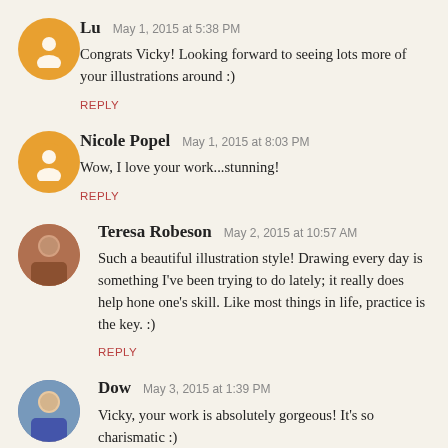Lu  May 1, 2015 at 5:38 PM
Congrats Vicky! Looking forward to seeing lots more of your illustrations around :)
REPLY
Nicole Popel  May 1, 2015 at 8:03 PM
Wow, I love your work...stunning!
REPLY
Teresa Robeson  May 2, 2015 at 10:57 AM
Such a beautiful illustration style! Drawing every day is something I've been trying to do lately; it really does help hone one's skill. Like most things in life, practice is the key. :)
REPLY
Dow  May 3, 2015 at 1:39 PM
Vicky, your work is absolutely gorgeous! It's so charismatic :)